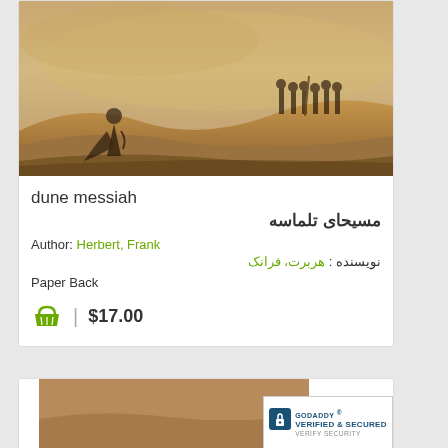[Figure (photo): Book cover of Dune Messiah showing figures in a sandy desert landscape with warm golden tones]
dune messiah
مسیحای تلماسه
Author: Herbert, Frank
نویسنده: هربرت، فرانک
Paper Back
$17.00
[Figure (photo): Partial book cover image, tan/brown colored]
[Figure (logo): GoDaddy Verified & Secured badge with lock icon]